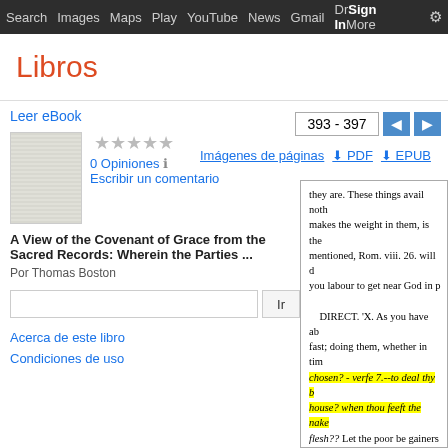Search  Images  Maps  Play  YouTube  News  Gmail  Drive  More  Sign in  ⚙
Libros
393 - 397
Imágenes de páginas   ⬇ PDF   ⬇ EPUB
Leer eBook
0 Opiniones   ℹ
Escribir un comentario
A View of the Covenant of Grace from the Sacred Records: Wherein the Parties ...
Por Thomas Boston
Acerca de este libro
Condiciones de uso
they are. These things avail noth makes the weight in them, is the mentioned, Rom. viii. 26. will d you labour to get near God in p
    DIRECT. 'X. As you have ab fast; doing them, whether in tim chosen? - verfe 7.--to deal thy b house? when thou feeft the nake flesh?? Let the poor be gainers watered also himself, Prov. xi. 2 disposition to wards one's fellov

iv. 32